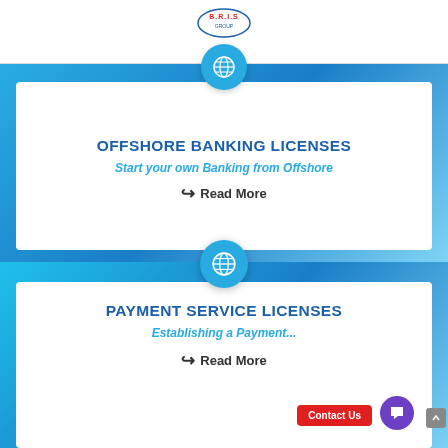[Figure (logo): B.R.I.S Group logo, circular emblem with text]
Hamburger menu icon
OFFSHORE BANKING LICENSES
Start your own Banking from Offshore
Read More
PAYMENT SERVICE LICENSES
Establishing a Payment...
Read More
Contact Us